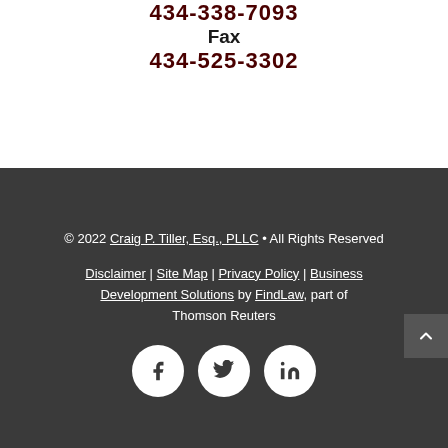434-338-7093
Fax
434-525-3302
© 2022 Craig P. Tiller, Esq., PLLC • All Rights Reserved
Disclaimer | Site Map | Privacy Policy | Business Development Solutions by FindLaw, part of Thomson Reuters